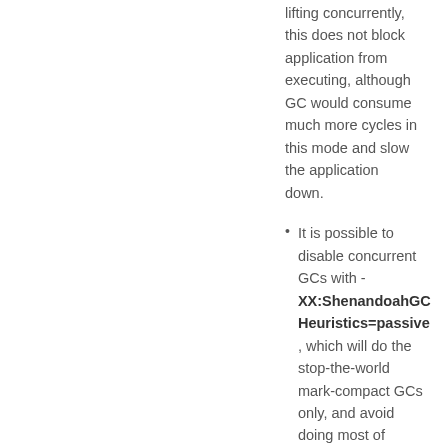lifting concurrently, this does not block application from executing, although GC would consume much more cycles in this mode and slow the application down.
It is possible to disable concurrent GCs with -XX:ShenandoahGCHeuristics=passive, which will do the stop-the-world mark-compact GCs only, and avoid doing most of concurrent work.
Shenandoah